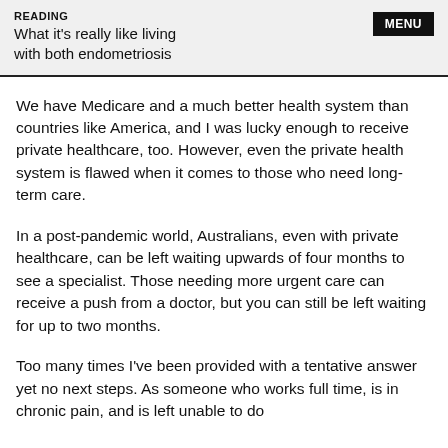READING
What it's really like living with both endometriosis
We have Medicare and a much better health system than countries like America, and I was lucky enough to receive private healthcare, too. However, even the private health system is flawed when it comes to those who need long-term care.
In a post-pandemic world, Australians, even with private healthcare, can be left waiting upwards of four months to see a specialist. Those needing more urgent care can receive a push from a doctor, but you can still be left waiting for up to two months.
Too many times I've been provided with a tentative answer yet no next steps. As someone who works full time, is in chronic pain, and is left unable to do